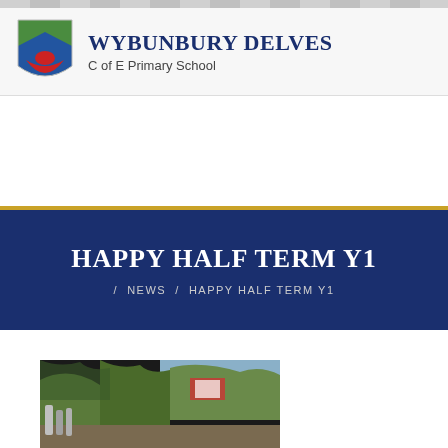Wybunbury Delves C of E Primary School
Happy half term Y1
/ NEWS / HAPPY HALF TERM Y1
[Figure (photo): Outdoor photo showing children or school environment, partially visible, dark background with colourful elements]